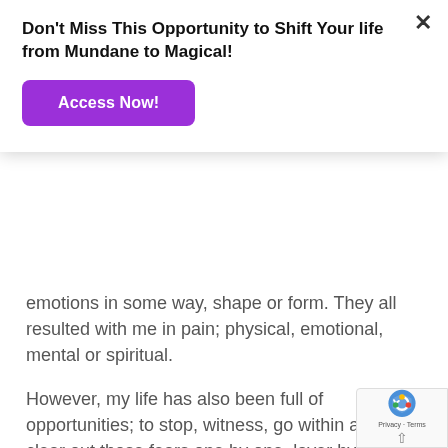Don't Miss This Opportunity to Shift Your life from Mundane to Magical!
Access Now!
emotions in some way, shape or form. They all resulted with me in pain; physical, emotional, mental or spiritual.
However, my life has also been full of opportunities; to stop, witness, go within and clear out those fears one by one, layer by layer. Through, physical illness and injury, life situations and healing modality and spiritual study and practice.
This time of self-isolation; this global and